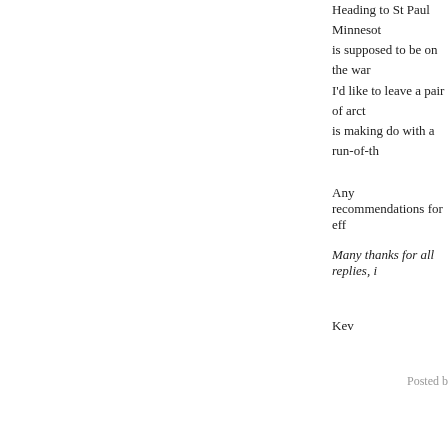Heading to St Paul Minnesota... is supposed to be on the war... I'd like to leave a pair of arcti... is making do with a run-of-the
Any recommendations for eff...
Many thanks for all replies, in...
Kev
Posted b...
[Figure (illustration): Avatar icon showing a silhouette of a head with a question mark inside, enclosed in a square border]
From "The Way (I Hope) We...
BRA-BRA Stroysand has th... wise and powerful Merle St...
"...shakin in the bushes, Bo...
http://www.msn.com/en-us/entertainment/entertain... donald-trump-i-completely-... li=AA2qN5v&ocid=spartann
Posted b...